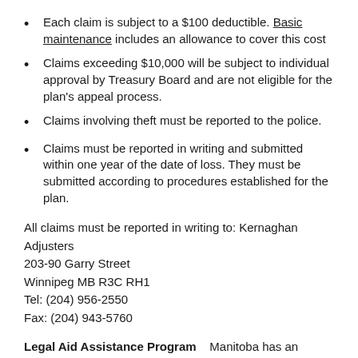Each claim is subject to a $100 deductible. Basic maintenance includes an allowance to cover this cost
Claims exceeding $10,000 will be subject to individual approval by Treasury Board and are not eligible for the plan's appeal process.
Claims involving theft must be reported to the police.
Claims must be reported in writing and submitted within one year of the date of loss. They must be submitted according to procedures established for the plan.
All claims must be reported in writing to: Kernaghan Adjusters
203-90 Garry Street
Winnipeg MB R3C RH1
Tel: (204) 956-2550
Fax: (204) 943-5760
Legal Aid Assistance Program    Manitoba has an agreement